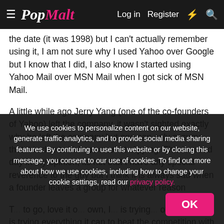PopMalt — Log in | Register
the date (it was 1998) but I can't actually remember using it, I am not sure why I used Yahoo over Google but I know that I did, I also know I started using Yahoo Mail over MSN Mail when I got sick of MSN Mail.
A little while ago Jerry Yang (one of the co-founders of Yahoo) left the company, it wasn't sighted exactly why he left the company but one can only assume that it is due to Yahoos market slipping. This is a sad day in my opinion, its not that I have any special reverence to the guy but I think it is always sad when a founder leaves a group for whatever reason
T... to go, love it ... own, I ... is trying ... over. Google is trying everything it can to beat the competition with Chrome, the Chrome Book, the Nexus, Android & Google + and I
We use cookies to personalize content on our website, generate traffic analytics, and to provide social media sharing features. By continuing to use this website or by closing this message, you consent to our use of cookies. To find out more about how we use cookies, including how to change your cookie settings, read our privacy policy.